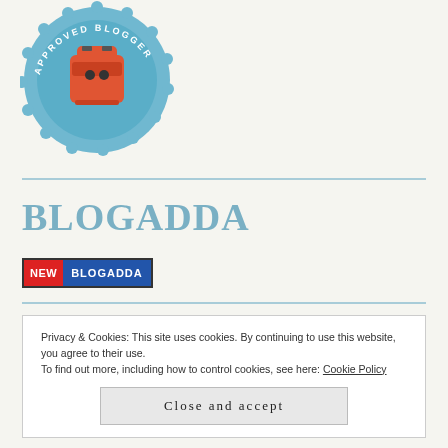[Figure (logo): Approved Blogger badge - circular blue seal with an orange/red travel backpack in the center and text 'APPROVED BLOGGER' around the edge]
BLOGADDA
[Figure (logo): Small inline badge with red NEW label and blue BLOGADDA label]
Privacy & Cookies: This site uses cookies. By continuing to use this website, you agree to their use.
To find out more, including how to control cookies, see here: Cookie Policy
Close and accept